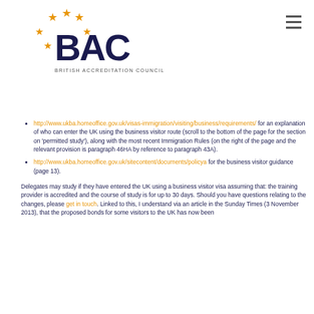[Figure (logo): British Accreditation Council (BAC) logo with orange stars and navy blue BAC lettering]
http://www.ukba.homeoffice.gov.uk/visas-immigration/visiting/business/requirements/ for an explanation of who can enter the UK using the business visitor route (scroll to the bottom of the page for the section on 'permitted study'), along with the most recent Immigration Rules (on the right of the page and the relevant provision is paragraph 46HA by reference to paragraph 43A).
http://www.ukba.homeoffice.gov.uk/sitecontent/documents/policya for the business visitor guidance (page 13).
Delegates may study if they have entered the UK using a business visitor visa assuming that: the training provider is accredited and the course of study is for up to 30 days. Should you have questions relating to the changes, please get in touch. Linked to this, I understand via an article in the Sunday Times (3 November 2013), that the proposed bonds for some visitors to the UK has now been